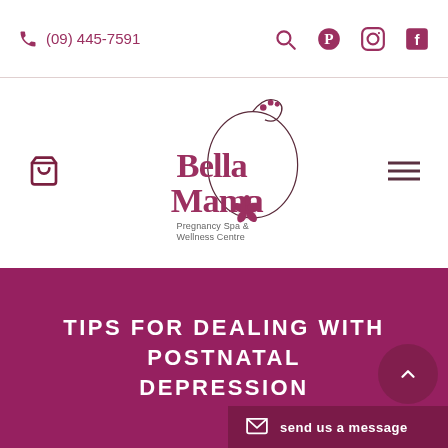(09) 445-7591
[Figure (logo): Bella Mama Pregnancy Spa & Wellness Centre logo with decorative circular floral design]
TIPS FOR DEALING WITH POSTNATAL DEPRESSION
send us a message